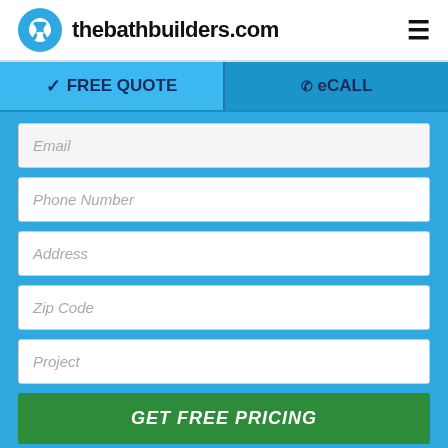thebathbuilders.com
FREE QUOTE | eCALL
Email
Phone Number
Address
Zip Code
Project
GET FREE PRICING